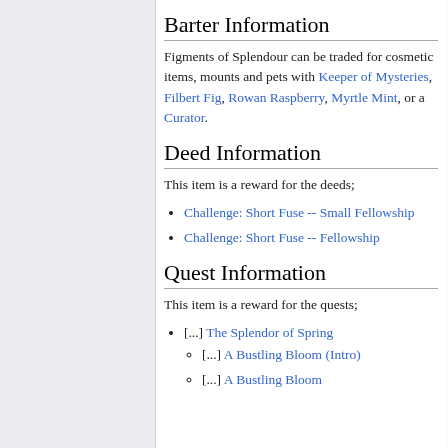Barter Information
Figments of Splendour can be traded for cosmetic items, mounts and pets with Keeper of Mysteries, Filbert Fig, Rowan Raspberry, Myrtle Mint, or a Curator.
Deed Information
This item is a reward for the deeds;
Challenge: Short Fuse -- Small Fellowship
Challenge: Short Fuse -- Fellowship
Quest Information
This item is a reward for the quests;
[...] The Splendor of Spring
[...] A Bustling Bloom (Intro)
[...] A Bustling Bloom